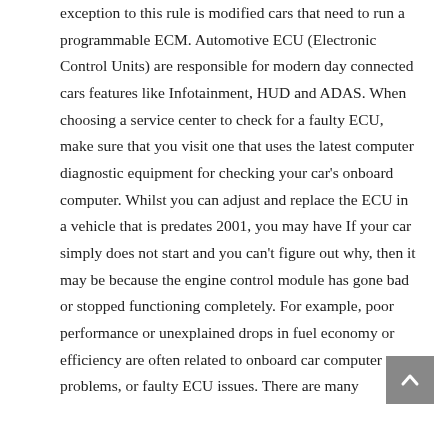exception to this rule is modified cars that need to run a programmable ECM. Automotive ECU (Electronic Control Units) are responsible for modern day connected cars features like Infotainment, HUD and ADAS. When choosing a service center to check for a faulty ECU, make sure that you visit one that uses the latest computer diagnostic equipment for checking your car's onboard computer. Whilst you can adjust and replace the ECU in a vehicle that is predates 2001, you may have If your car simply does not start and you can't figure out why, then it may be because the engine control module has gone bad or stopped functioning completely. For example, poor performance or unexplained drops in fuel economy or efficiency are often related to onboard car computer problems, or faulty ECU issues. There are many